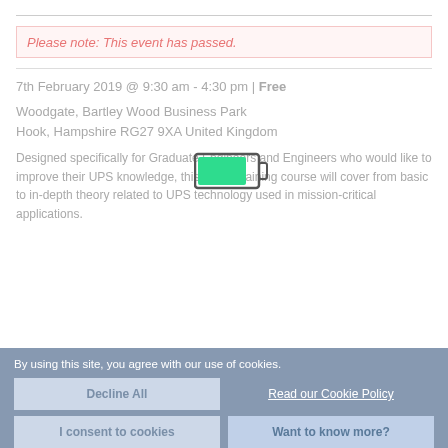Please note: This event has passed.
7th February 2019 @ 9:30 am - 4:30 pm | Free
Woodgate, Bartley Wood Business Park
Hook, Hampshire RG27 9XA United Kingdom
Designed specifically for Graduate Engineers and Engineers who would like to improve their UPS knowledge, this FREE training course will cover from basic to in-depth theory related to UPS technology used in mission-critical applications.
[Figure (illustration): Battery icon with green charge indicator, overlaid on the page content]
By using this site, you agree with our use of cookies.
Decline All
Read our Cookie Policy
I consent to cookies
Want to know more?